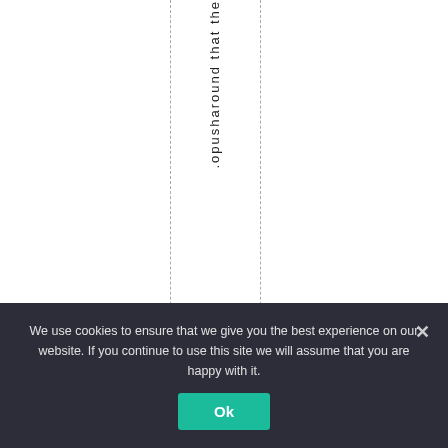.opusharound that the
We use cookies to ensure that we give you the best experience on our website. If you continue to use this site we will assume that you are happy with it.
Ok